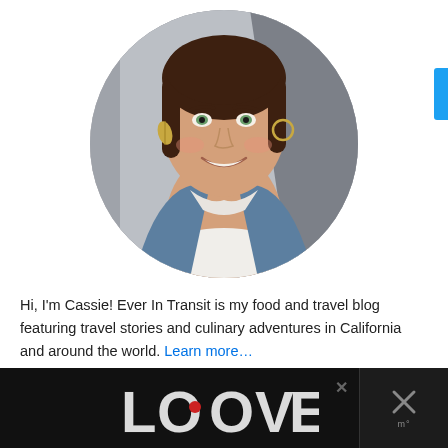[Figure (photo): Circular cropped headshot photo of a woman with dark brown hair, green eyes, wearing a denim jacket over a white t-shirt, with leaf earrings, smiling against a gray background.]
Hi, I'm Cassie! Ever In Transit is my food and travel blog featuring travel stories and culinary adventures in California and around the world. Learn more…
[Figure (photo): Advertisement banner at the bottom showing a decorative black and white 'LOVE' text logo with ornate patterns and a small red heart, on a black background with a close button and an X button on the right side.]